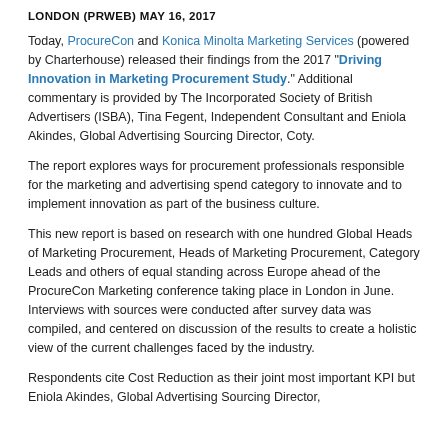LONDON (PRWEB) MAY 16, 2017
Today, ProcureCon and Konica Minolta Marketing Services (powered by Charterhouse) released their findings from the 2017 "Driving Innovation in Marketing Procurement Study." Additional commentary is provided by The Incorporated Society of British Advertisers (ISBA), Tina Fegent, Independent Consultant and Eniola Akindes, Global Advertising Sourcing Director, Coty.
The report explores ways for procurement professionals responsible for the marketing and advertising spend category to innovate and to implement innovation as part of the business culture.
This new report is based on research with one hundred Global Heads of Marketing Procurement, Heads of Marketing Procurement, Category Leads and others of equal standing across Europe ahead of the ProcureCon Marketing conference taking place in London in June. Interviews with sources were conducted after survey data was compiled, and centered on discussion of the results to create a holistic view of the current challenges faced by the industry.
Respondents cite Cost Reduction as their joint most important KPI but Eniola Akindes, Global Advertising Sourcing Director,